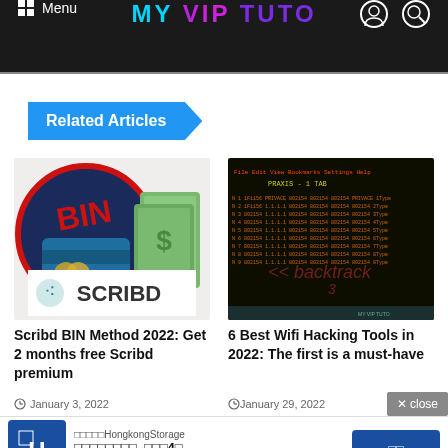MY VIP TUTO | Menu
Related Articles
[Figure (screenshot): Scribd BIN method thumbnail showing BIN logo with credit card and dollar bill image, plus Scribd logo]
Scribd BIN Method 2022: Get 2 months free Scribd premium
January 3, 2022
[Figure (screenshot): Terminal/console screenshot with backtrack branding showing Wifi hacking tools]
6 Best Wifi Hacking Tools in 2022: The first is a must-have
January 29, 2022
× close
[Figure (other): HongkongStorage advertisement banner with blue logo showing H letter and Japanese text]